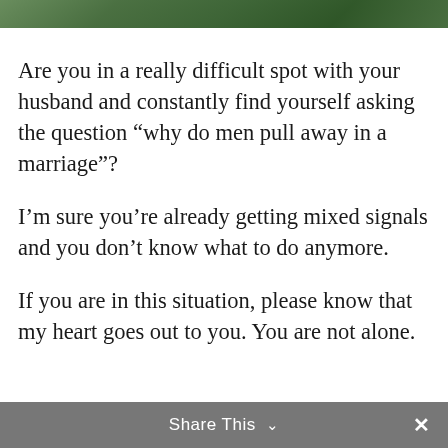[Figure (photo): Partial photo strip at top showing outdoor/nature scene with green tones]
Are you in a really difficult spot with your husband and constantly find yourself asking the question “why do men pull away in a marriage”?
I’m sure you’re already getting mixed signals and you don’t know what to do anymore.
If you are in this situation, please know that my heart goes out to you. You are not alone.
Share This ⌄ ✕